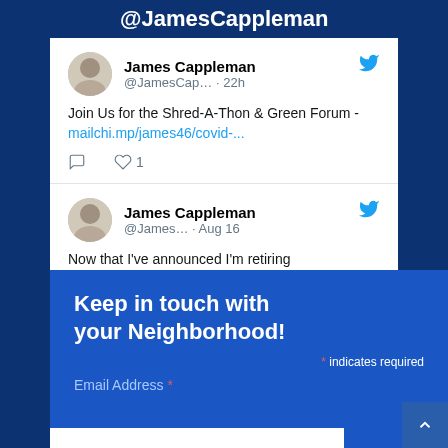@JamesCappleman
[Figure (screenshot): Tweet by James Cappleman @JamesCap… · 22h: Join Us for the Shred-A-Thon & Green Forum - mailchi.mp/james46/covid-... with reply and like (1) icons]
[Figure (screenshot): Tweet by James Cappleman @James… · Aug 16: Now that I've announced I'm retiring]
Keep in touch with your Neighborhood!
* indicates required
Email Address *